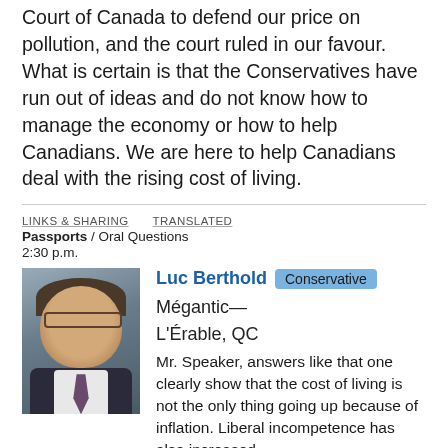Court of Canada to defend our price on pollution, and the court ruled in our favour. What is certain is that the Conservatives have run out of ideas and do not know how to manage the economy or how to help Canadians. We are here to help Canadians deal with the rising cost of living.
LINKS & SHARING   TRANSLATED
Passports / Oral Questions
2:30 p.m.
[Figure (photo): Headshot photo of Luc Berthold, a man with glasses wearing a dark suit and tie, smiling]
Luc Berthold  Conservative  Mégantic—L'Érable, QC

Mr. Speaker, answers like that one clearly show that the cost of living is not the only thing going up because of inflation. Liberal incompetence has also increased dramatically. Canadians currently waiting in line at passport offices are talking about mismanagement, complacency, crisis and a lack of compassion. Those are their words, not mine. The reality is that people are waiting for days for a basic